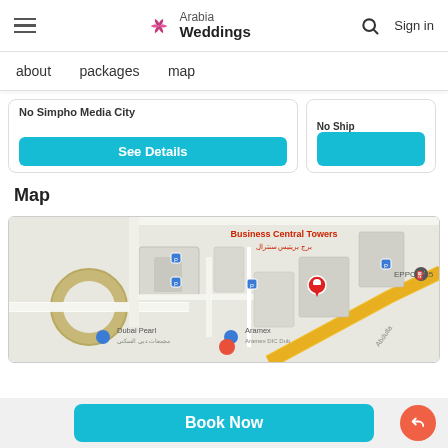Arabia Weddings — Sign in
about
packages
map
See Details
Map
[Figure (map): Google Maps embed showing Business Central Towers area in Dubai, with markers for Dubai Pearl, Aramex DIC Dubai, and EPPCO 85 locations]
Book Now